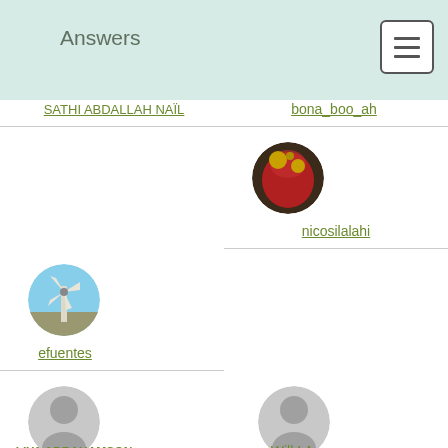Answers
[Figure (screenshot): Menu hamburger button icon]
SATHI ABDALLAH NAÏL
bona_boo_ah
[Figure (photo): User avatar for nicosilalahi - red apple/ball on dark background]
nicosilalahi
[Figure (photo): User avatar for efuentes - windmill or kite in blue sky]
efuentes
[Figure (illustration): Generic silhouette user avatar for LIYA ABRAHAMSON]
LIYA ABRAHAMSON
[Figure (illustration): Generic silhouette user avatar for Will I Am]
Will I Am